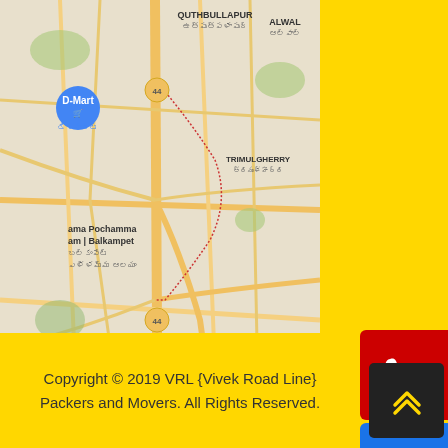[Figure (map): Google Maps showing Secunderabad area in Hyderabad, India, with labels for QUTHBULLAPUR, ALWAL, D-Mart, TRIMULGHERRY, Ama Pochamma am | Balkampet, BEGUMPET, AMEERPET, Secunderabad, road numbers 44 and 65]
[Figure (infographic): Three side buttons: red phone button, blue email/envelope button, green WhatsApp button]
Copyright © 2019 VRL {Vivek Road Line} Packers and Movers. All Rights Reserved.